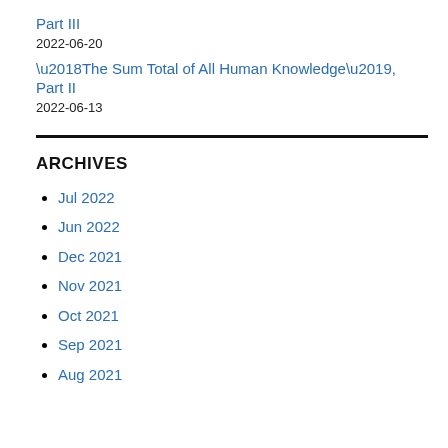Part III
2022-06-20
‘The Sum Total of All Human Knowledge’, Part II
2022-06-13
ARCHIVES
Jul 2022
Jun 2022
Dec 2021
Nov 2021
Oct 2021
Sep 2021
Aug 2021